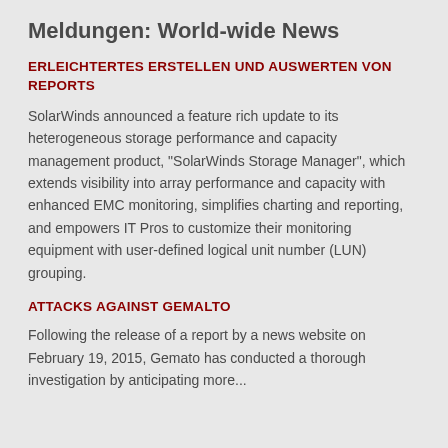Meldungen: World-wide News
ERLEICHTERTES ERSTELLEN UND AUSWERTEN VON REPORTS
SolarWinds announced a feature rich update to its heterogeneous storage performance and capacity management product, "SolarWinds Storage Manager", which extends visibility into array performance and capacity with enhanced EMC monitoring, simplifies charting and reporting, and empowers IT Pros to customize their monitoring equipment with user-defined logical unit number (LUN) grouping.
ATTACKS AGAINST GEMALTO
Following the release of a report by a news website on February 19, 2015, Gemato has conducted a thorough investigation by anticipating more...